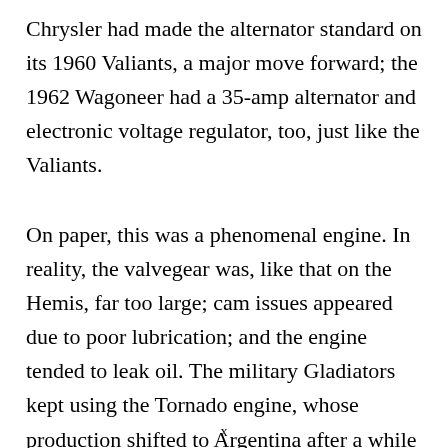Chrysler had made the alternator standard on its 1960 Valiants, a major move forward; the 1962 Wagoneer had a 35-amp alternator and electronic voltage regulator, too, just like the Valiants.
On paper, this was a phenomenal engine. In reality, the valvegear was, like that on the Hemis, far too large; cam issues appeared due to poor lubrication; and the engine tended to leak oil. The military Gladiators kept using the Tornado engine, whose production shifted to Argentina after a while in the United States, but civilian Wagoneers and Gladiators moved on to much newer engines made by, ironically, American Motors—the company which
x